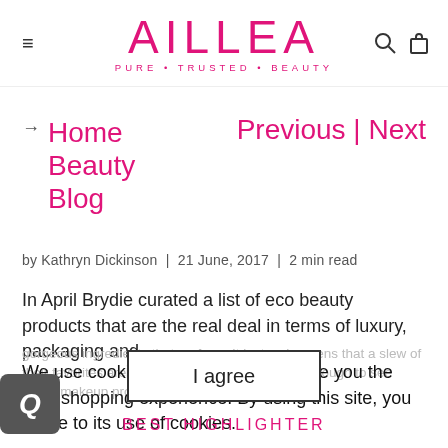AILLEA PURE · TRUSTED · BEAUTY
Home
Beauty
Blog
Previous | Next
by Kathryn Dickinson  |  21 June, 2017  |  2 min read
In April Brydie curated a list of eco beauty products that are the real deal in terms of luxury, packaging and gorgeous ingredients that perform. It just so happens that a slew of their favorites are Aillea favorites as well! Read through to see which makeup products stand out above the rest!
We use cookies on our website to give you the best shopping experience. By using this site, you agree to its use of cookies.
I agree
BEST HIGHLIGHTER